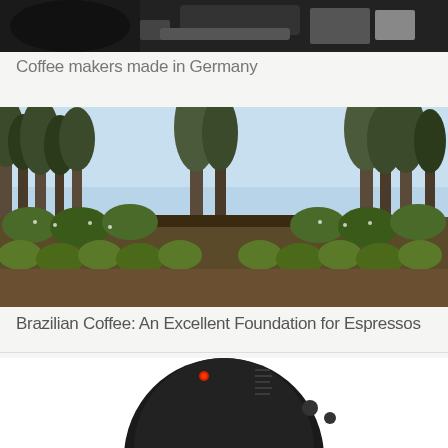[Figure (photo): Partial view of a coffee maker on a dark background with some items visible]
Coffee makers made in Germany
[Figure (photo): Coffee plantation with rows of coffee plants and tall trees in the background under a blue sky]
Brazilian Coffee: An Excellent Foundation for Espressos
[Figure (photo): Close-up of a dark circular coffee maker appliance]